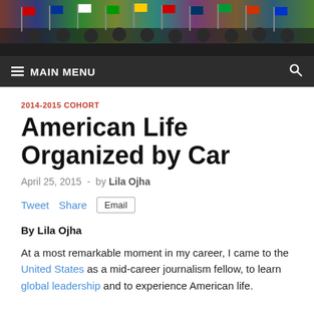[Figure (photo): Group photo of people holding international flags at a formal event, dark background]
≡ MAIN MENU   🔍
2014-2015 COHORT
American Life Organized by Car
April 25, 2015  -  by Lila Ojha
Tweet   Share   Email
By Lila Ojha
At a most remarkable moment in my career, I came to the United States as a mid-career journalism fellow, to learn global leadership and to experience American life.